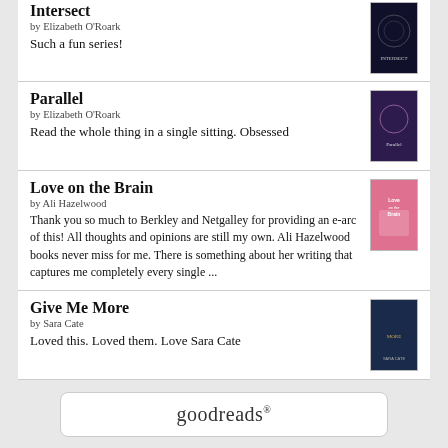Intersect by Elizabeth O'Roark — Such a fun series!
Parallel by Elizabeth O'Roark — Read the whole thing in a single sitting. Obsessed
Love on the Brain by Ali Hazelwood — Thank you so much to Berkley and Netgalley for providing an e-arc of this! All thoughts and opinions are still my own. Ali Hazelwood books never miss for me. There is something about her writing that captures me completely every single ...
Give Me More by Sara Cate — Loved this. Loved them. Love Sara Cate
[Figure (logo): Goodreads logo with rounded rectangle border]